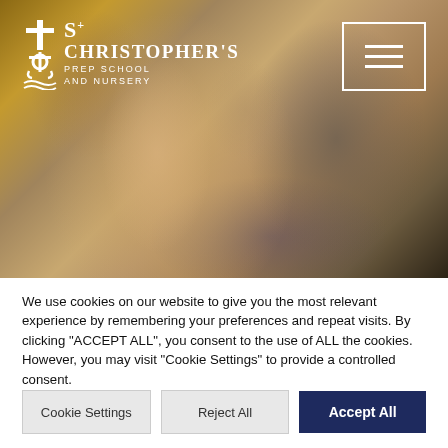[Figure (photo): School website hero image showing a smiling young girl with blonde hair in a blue school uniform, with another student partially visible in the foreground. The image has warm bokeh lighting.]
[Figure (logo): St Christopher's Prep School and Nursery logo in white, featuring a cross and anchor symbol with wavy lines beneath, and text reading S+ CHRISTOPHER'S PREP SCHOOL AND NURSERY]
We use cookies on our website to give you the most relevant experience by remembering your preferences and repeat visits. By clicking "ACCEPT ALL", you consent to the use of ALL the cookies. However, you may visit "Cookie Settings" to provide a controlled consent.
Cookie Settings
Reject All
Accept All